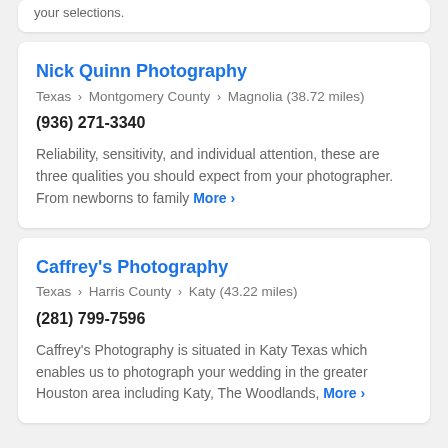your selections.
Nick Quinn Photography
Texas › Montgomery County › Magnolia (38.72 miles)
(936) 271-3340
Reliability, sensitivity, and individual attention, these are three qualities you should expect from your photographer. From newborns to family More ›
Caffrey's Photography
Texas › Harris County › Katy (43.22 miles)
(281) 799-7596
Caffrey's Photography is situated in Katy Texas which enables us to photograph your wedding in the greater Houston area including Katy, The Woodlands, More ›